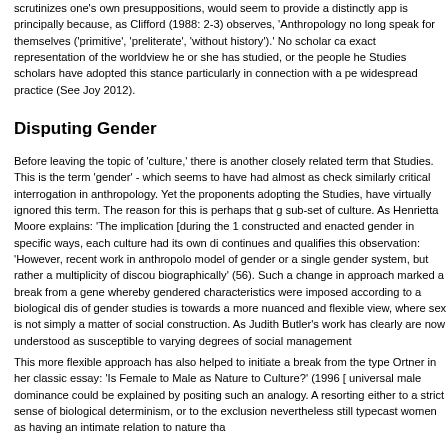scrutinizes one's own presuppositions, would seem to provide a distinctly app is principally because, as Clifford (1988: 2-3) observes, 'Anthropology no long speak for themselves ('primitive', 'preliterate', 'without history').' No scholar ca exact representation of the worldview he or she has studied, or the people he Studies scholars have adopted this stance particularly in connection with a pe widespread practice (See Joy 2012).
Disputing Gender
Before leaving the topic of 'culture,' there is another closely related term that Studies. This is the term 'gender' - which seems to have had almost as check similarly critical interrogation in anthropology. Yet the proponents adopting the Studies, have virtually ignored this term. The reason for this is perhaps that g sub-set of culture. As Henrietta Moore explains: 'The implication [during the 1 constructed and enacted gender in specific ways, each culture had its own di continues and qualifies this observation: 'However, recent work in anthropolo model of gender or a single gender system, but rather a multiplicity of discou biographically' (56). Such a change in approach marked a break from a gene whereby gendered characteristics were imposed according to a biological dis of gender studies is towards a more nuanced and flexible view, where sex is not simply a matter of social construction. As Judith Butler's work has clearly are now understood as susceptible to varying degrees of social management
This more flexible approach has also helped to initiate a break from the type Ortner in her classic essay: 'Is Female to Male as Nature to Culture?' (1996 [ universal male dominance could be explained by positing such an analogy. A resorting either to a strict sense of biological determinism, or to the exclusion nevertheless still typecast women as having an intimate relation to nature tha